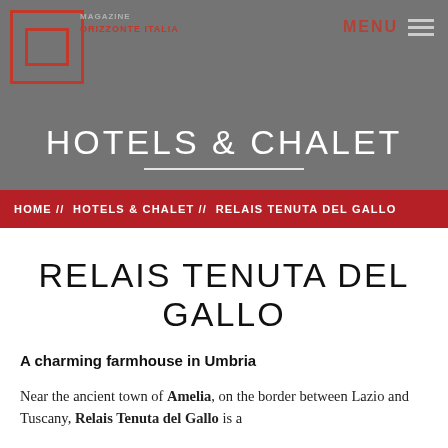[Figure (photo): Hero banner image of a farmhouse/hotel building with grey sky, overlaid with semi-transparent dark grey color. Contains logo for Orizzonte Italia magazine top-left, MENU label and hamburger icon top-right, and 'HOTELS & CHALET' title centered with white underline.]
HOME // HOTELS & CHALET // RELAIS TENUTA DEL GALLO
RELAIS TENUTA DEL GALLO
A charming farmhouse in Umbria
Near the ancient town of Amelia, on the border between Lazio and Tuscany, Relais Tenuta del Gallo is a